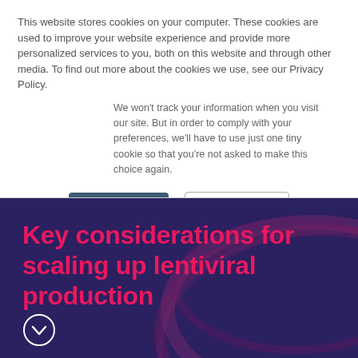This website stores cookies on your computer. These cookies are used to improve your website experience and provide more personalized services to you, both on this website and through other media. To find out more about the cookies we use, see our Privacy Policy.
We won't track your information when you visit our site. But in order to comply with your preferences, we'll have to use just one tiny cookie so that you're not asked to make this choice again.
Accept
Decline
Key considerations for scaling up lentiviral production